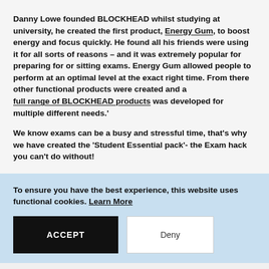Danny Lowe founded BLOCKHEAD whilst studying at university, he created the first product, Energy Gum, to boost energy and focus quickly. He found all his friends were using it for all sorts of reasons – and it was extremely popular for preparing for or sitting exams. Energy Gum allowed people to perform at an optimal level at the exact right time. From there other functional products were created and a full range of BLOCKHEAD products was developed for multiple different needs.'
We know exams can be a busy and stressful time, that's why we have created the 'Student Essential pack'- the Exam hack you can't do without!
To ensure you have the best experience, this website uses functional cookies. Learn More